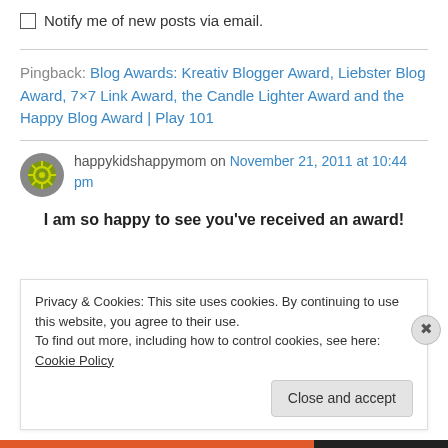Notify me of new posts via email.
Pingback: Blog Awards: Kreativ Blogger Award, Liebster Blog Award, 7×7 Link Award, the Candle Lighter Award and the Happy Blog Award | Play 101
happykidshappymom on November 21, 2011 at 10:44 pm
I am so happy to see you've received an award!
Privacy & Cookies: This site uses cookies. By continuing to use this website, you agree to their use. To find out more, including how to control cookies, see here: Cookie Policy